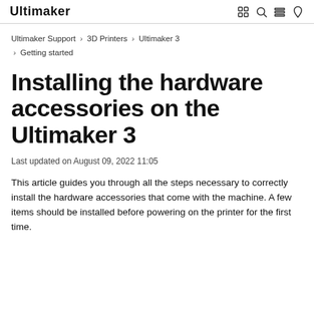Ultimaker
Ultimaker Support › 3D Printers › Ultimaker 3 › Getting started
Installing the hardware accessories on the Ultimaker 3
Last updated on August 09, 2022 11:05
This article guides you through all the steps necessary to correctly install the hardware accessories that come with the machine. A few items should be installed before powering on the printer for the first time.